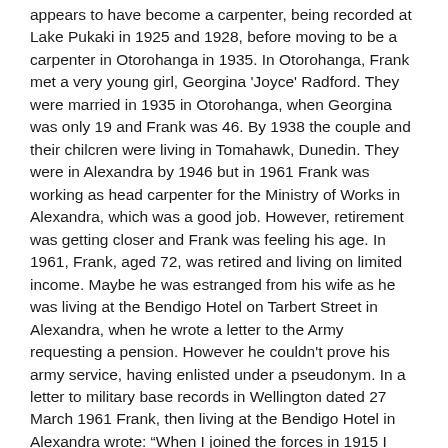appears to have become a carpenter, being recorded at Lake Pukaki in 1925 and 1928, before moving to be a carpenter in Otorohanga in 1935. In Otorohanga, Frank met a very young girl, Georgina 'Joyce' Radford. They were married in 1935 in Otorohanga, when Georgina was only 19 and Frank was 46. By 1938 the couple and their chilcren were living in Tomahawk, Dunedin. They were in Alexandra by 1946 but in 1961 Frank was working as head carpenter for the Ministry of Works in Alexandra, which was a good job. However, retirement was getting closer and Frank was feeling his age. In 1961, Frank, aged 72, was retired and living on limited income. Maybe he was estranged from his wife as he was living at the Bendigo Hotel on Tarbert Street in Alexandra, when he wrote a letter to the Army requesting a pension. However he couldn't prove his army service, having enlisted under a pseudonym. In a letter to military base records in Wellington dated 27 March 1961 Frank, then living at the Bendigo Hotel in Alexandra wrote: "When I joined the forces in 1915 I thought I was born in 1896, making me under age. There were four of us so we changed our names, a very foolish thing to do but we were young and foolish. I joined with the NZRB as Walter Ernest Nicol 23/1133 1st Batt, D Coy, 15th Platoon under Tom Wilfred, lieutenant. My next of kin in my paybook was my mother Mrs Milly Don, No. 8 Oban St